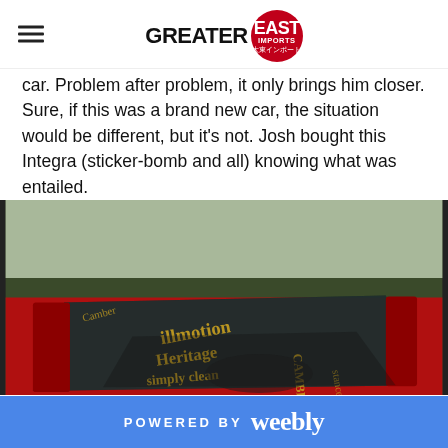GREATER EAST IMPORTS
car. Problem after problem, it only brings him closer. Sure, if this was a brand new car, the situation would be different, but it's not. Josh bought this Integra (sticker-bomb and all) knowing what was entailed.
[Figure (photo): Close-up photo of a red Honda Integra windshield covered in gold sticker-bomb decals including 'illmotion', 'Heritage', 'Simply Clean', and 'Camber Gang' among others, with a green grassy field visible in the background.]
POWERED BY weebly